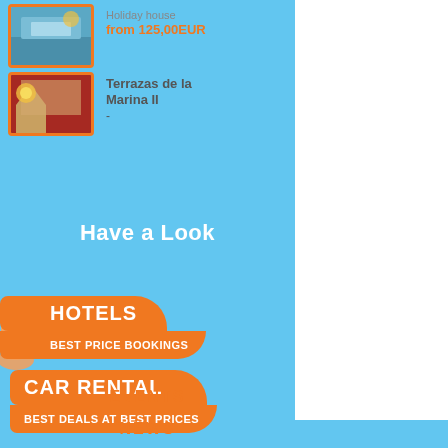[Figure (photo): Holiday house thumbnail with orange border, partially cropped at top]
Holiday house
from 125,00EUR
[Figure (photo): Terrazas de la Marina II interior room photo with orange border]
Terrazas de la Marina II
-
Have a Look
CAR RENTAL
BEST DEALS AT BEST PRICES
[Figure (photo): Hand/arm gesture partially visible on left side near Hotels section]
HOTELS
BEST PRICE BOOKINGS
EVENTS
NEWS